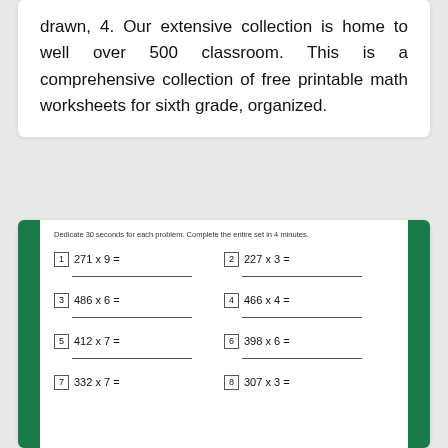drawn, 4. Our extensive collection is home to well over 500 classroom. This is a comprehensive collection of free printable math worksheets for sixth grade, organized.
[Figure (other): Math worksheet with instruction 'Dedicate 30 seconds for each problem. Complete the entire set in 4 minutes.' and 8 multiplication problems: 1) 271 x 9 =, 2) 227 x 3 =, 3) 486 x 6 =, 4) 466 x 4 =, 5) 412 x 7 =, 6) 398 x 6 =, 7) 332 x 7 =, 8) 307 x 3 =]